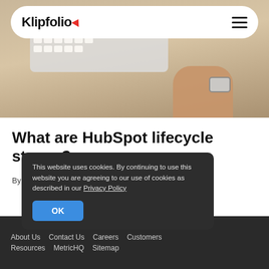Klipfolio
[Figure (photo): Person's hand with a smartwatch typing on a keyboard, close-up shot on a desk]
What are HubSpot lifecycle stages?
By Jonathan Taylor — March 14, 2022
This website uses cookies. By continuing to use this website you are agreeing to our use of cookies as described in our Privacy Policy
About Us   Contact Us   Careers   Customers   Resources   MetricHQ   Sitemap